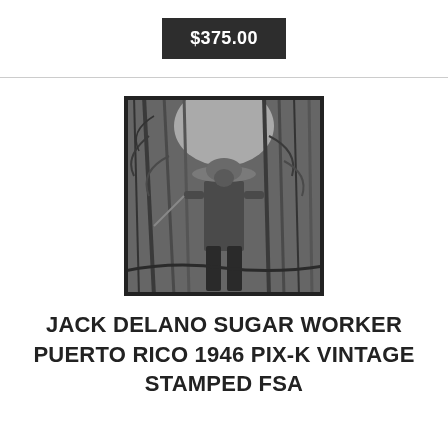$375.00
[Figure (photo): Black and white photograph of a sugar cane worker in Puerto Rico, wearing a wide-brimmed hat and working among dense sugar cane plants]
JACK DELANO SUGAR WORKER PUERTO RICO 1946 PIX-K VINTAGE STAMPED FSA